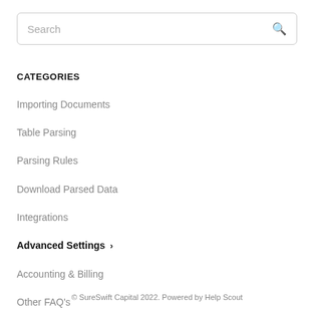[Figure (screenshot): Search input box with placeholder text 'Search' and a search icon on the right]
CATEGORIES
Importing Documents
Table Parsing
Parsing Rules
Download Parsed Data
Integrations
Advanced Settings ›
Accounting & Billing
Other FAQ's
© SureSwift Capital 2022. Powered by Help Scout